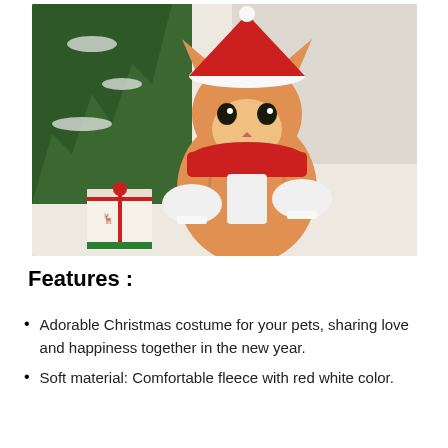[Figure (photo): An orange tabby cat dressed in a Santa hat, red scarf, and white-cuffed outfit, sitting upright in front of a Christmas tree with a small gift box nearby.]
Features :
Adorable Christmas costume for your pets, sharing love and happiness together in the new year.
Soft material: Comfortable fleece with red white color.